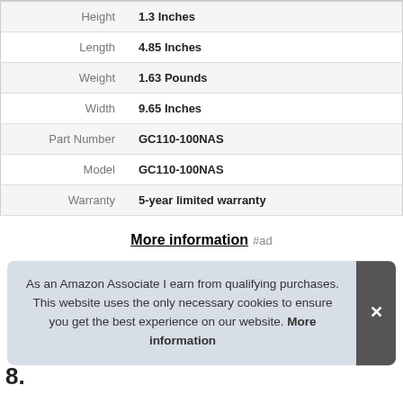| Attribute | Value |
| --- | --- |
| Height | 1.3 Inches |
| Length | 4.85 Inches |
| Weight | 1.63 Pounds |
| Width | 9.65 Inches |
| Part Number | GC110-100NAS |
| Model | GC110-100NAS |
| Warranty | 5-year limited warranty |
More information #ad
As an Amazon Associate I earn from qualifying purchases. This website uses the only necessary cookies to ensure you get the best experience on our website. More information
8.